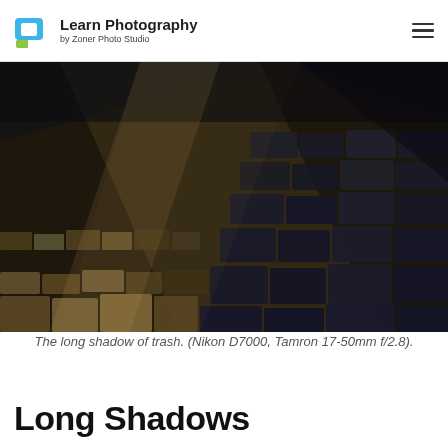Learn Photography by Zoner Photo Studio
[Figure (photo): Close-up photograph of a cobblestone street with long shadows cast across the stones. The left side is bathed in warm golden sunlight, while the right side is in shadow. Perspective leads the eye from foreground to background.]
The long shadow of trash. (Nikon D7000, Tamron 17-50mm f/2.8).
Long Shadows